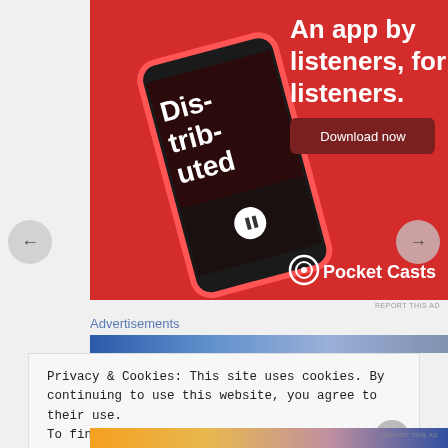[Figure (illustration): Pocket Casts app advertisement on red background. Shows a smartphone displaying a podcast episode called 'Distributed'. Text reads 'An app by listeners, for listeners.' with a 'Download now' button and Pocket Casts logo.]
REPORT THIS AD
Advertisements
Privacy & Cookies: This site uses cookies. By continuing to use this website, you agree to their use.
To find out more, including how to control cookies, see here: Our Cookie Policy
Close and accept